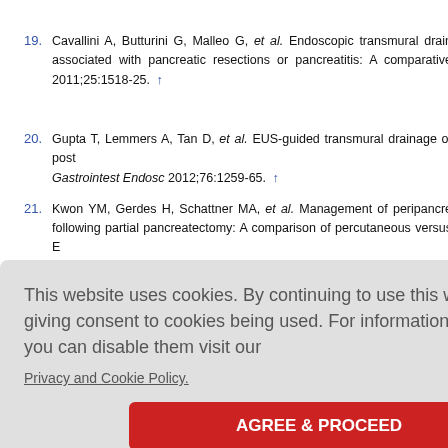19. Cavallini A, Butturini G, Malleo G, et al. Endoscopic transmural drainage associated with pancreatic resections or pancreatitis: A comparative 2011;25:1518-25. ↑
20. Gupta T, Lemmers A, Tan D, et al. EUS-guided transmural drainage of post Gastrointest Endosc 2012;76:1259-65. ↑
21. Kwon YM, Gerdes H, Schattner MA, et al. Management of peripancre following partial pancreatectomy: A comparison of percutaneous versus E Surg Endosc 2013;27:2422-7. ↑
This website uses cookies. By continuing to use this website you are giving consent to cookies being used. For information on cookies and how you can disable them visit our
Privacy and Cookie Policy.
AGREE & PROCEED